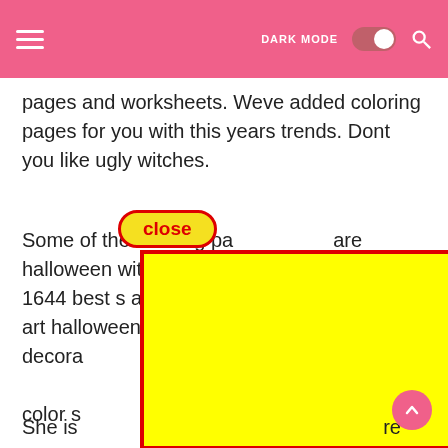DARK MODE [toggle] [search]
pages and worksheets. Weve added coloring pages for you with this years trends. Dont you like ugly witches.
Some of the coloring pa are halloween witch 1644 best s about hallo halloween art halloween decora to color s est heksje hallowe hallowe getdra of hallowe hallowe o cute and sil any hallowe
[Figure (other): Red-bordered yellow rectangle overlay covering most of the text content area]
She is re